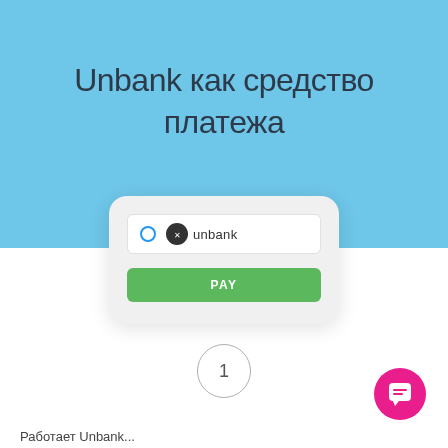Unbank как средство платежа
[Figure (screenshot): Mobile phone screen showing a payment interface with Unbank selected as payment method and a green PAY button]
1
Работает Unbank...